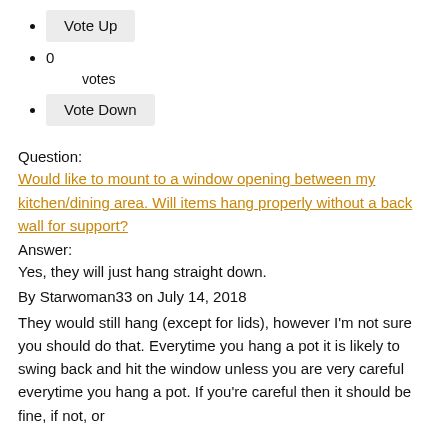Vote Up
0
votes
Vote Down
Question:
Would like to mount to a window opening between my kitchen/dining area. Will items hang properly without a back wall for support?
Answer:
Yes, they will just hang straight down.
By Starwoman33 on July 14, 2018
They would still hang (except for lids), however I'm not sure you should do that. Everytime you hang a pot it is likely to swing back and hit the window unless you are very careful everytime you hang a pot. If you're careful then it should be fine, if not, or